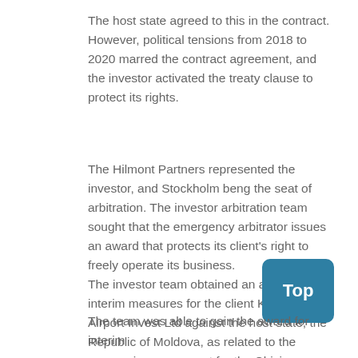The host state agreed to this in the contract. However, political tensions from 2018 to 2020 marred the contract agreement, and the investor activated the treaty clause to protect its rights.
The Hilmont Partners represented the investor, and Stockholm beng the seat of arbitration. The investor arbitration team sought that the emergency arbitrator issues an award that protects its client's right to freely operate its business.
The investor team obtained an award for interim measures for the client Komaksavia Airport Invest Ltd against the host state, the Republic of Moldova, as related to the concession agreement for the Chisinau International Airport.
The team was able to gain the award for interim